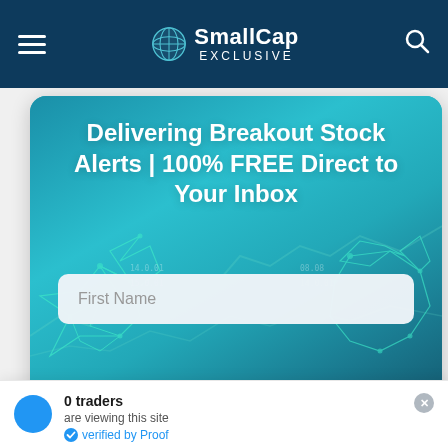SmallCap EXCLUSIVE
Delivering Breakout Stock Alerts | 100% FREE Direct to Your Inbox
First Name
Best Email
[Figure (screenshot): Website screenshot of SmallCap Exclusive showing a newsletter signup form with a teal/blue gradient background featuring geometric bear and bull animal shapes]
0 traders are viewing this site verified by Proof